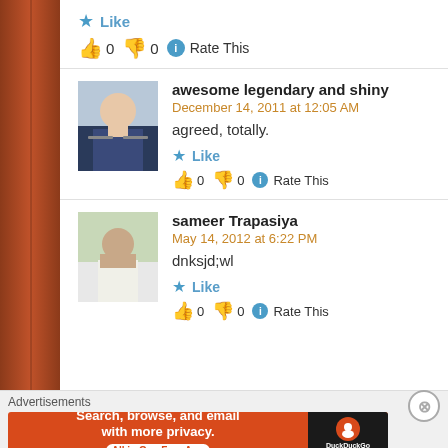Like
👍 0 👎 0 ℹ Rate This
awesome legendary and shiny
December 14, 2011 at 12:05 AM
agreed, totally.
Like
👍 0 👎 0 ℹ Rate This
sameer Trapasiya
May 14, 2012 at 6:22 PM
dnksjd;wl
Like
👍 0 👎 0 ℹ Rate This
Advertisements
[Figure (infographic): DuckDuckGo advertisement banner: Search, browse, and email with more privacy. All in One Free App.]